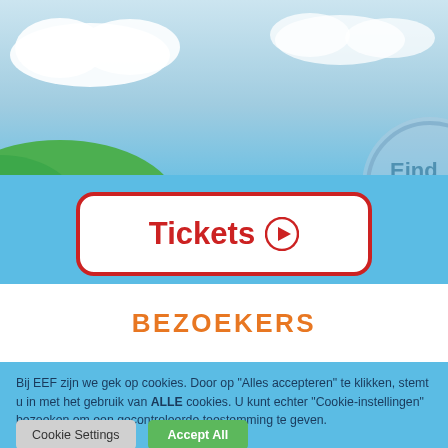[Figure (screenshot): Hero banner with blue sky, clouds, green hills, and a circular coin/medal graphic on the right side showing partial text 'Eind']
[Figure (illustration): Tickets button with red border and play icon on blue background]
BEZOEKERS
Bij EEF zijn we gek op cookies. Door op "Alles accepteren" te klikken, stemt u in met het gebruik van ALLE cookies. U kunt echter "Cookie-instellingen" bezoeken om een gecontroleerde toestemming te geven.
Cookie Settings  Accept All